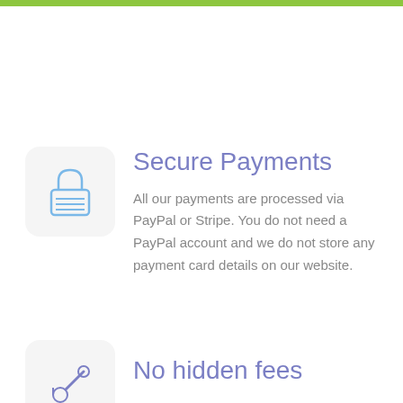[Figure (other): Green horizontal bar at top of page]
[Figure (illustration): Padlock icon inside a rounded square light gray background circle]
Secure Payments
All our payments are processed via PayPal or Stripe. You do not need a PayPal account and we do not store any payment card details on our website.
[Figure (illustration): Wrench/tool icon partially visible inside a rounded square light gray background, at bottom of page]
No hidden fees